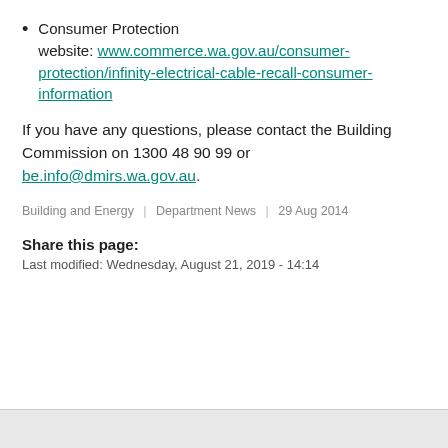Consumer Protection website: www.commerce.wa.gov.au/consumer-protection/infinity-electrical-cable-recall-consumer-information
If you have any questions, please contact the Building Commission on 1300 48 90 99 or be.info@dmirs.wa.gov.au.
Building and Energy | Department News | 29 Aug 2014
Share this page:
Last modified: Wednesday, August 21, 2019 - 14:14